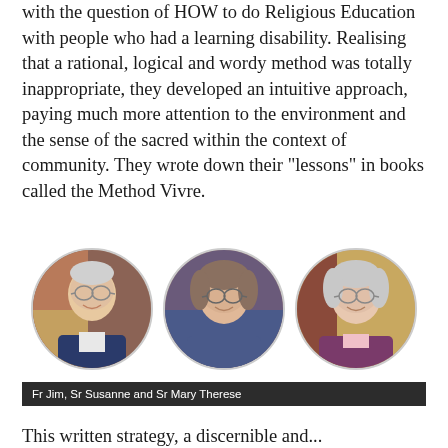with the question of HOW to do Religious Education with people who had a learning disability. Realising that a rational, logical and wordy method was totally inappropriate, they developed an intuitive approach, paying much more attention to the environment and the sense of the sacred within the context of community. They wrote down their "lessons" in books called the Method Vivre.
[Figure (photo): Three circular portrait photos side by side: Fr Jim (elderly man in navy suit), Sr Susanne (middle-aged woman with glasses), and Sr Mary Therese (elderly woman with glasses).]
Fr Jim, Sr Susanne and Sr Mary Therese
This written strategy, a discernible and...